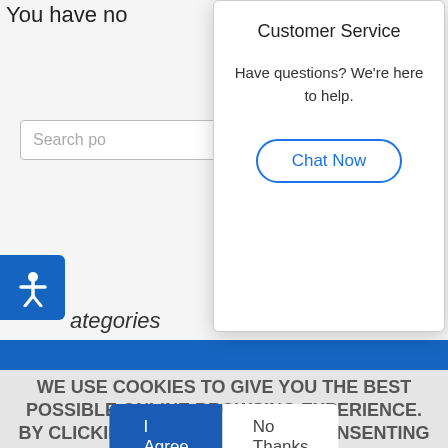You have no...
Search po...
Customer Service
Have questions? We're here to help.
Chat Now
ategories
WE USE COOKIES TO GIVE YOU THE BEST POSSIBLE ONLINE BROWSING EXPERIENCE. BY CLICKING I AGREE, YOU ARE CONSENTING TO OUR PRIVACY POLICY.
I Agree
No Thanks